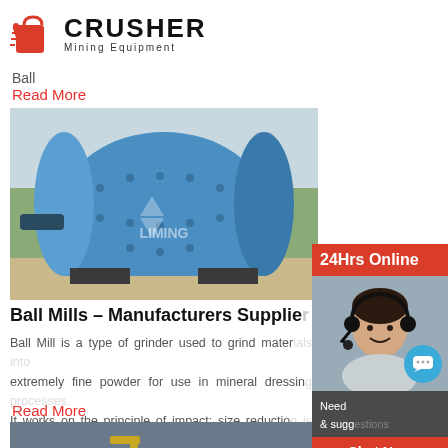[Figure (logo): CRUSHER Mining Equipment logo with red shopping bag icon and bold text]
Ball
Read More
[Figure (photo): Blue industrial ball mill machine (LIMING brand) outdoors]
Ball Mills – Manufacturers Supplie…
Ball Mill is a type of grinder used to grind mater… extremely fine powder for use in mineral dressin… It works on the principle of impact: size reductio… impact as the balls drop from near the top of the…
Read More
[Figure (photo): Excavators working on a dark mining site]
[Figure (photo): 24Hrs Online customer service representative sidebar with chat now and enquiry links]
liming jlmofen@sina.com